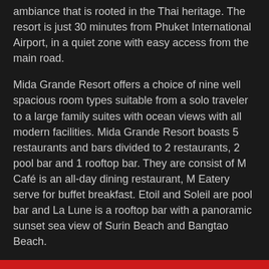ambiance that is rooted in the Thai heritage. The resort is just 30 minutes from Phuket International Airport, in a quiet zone with easy access from the main road.
Mida Grande Resort offers a choice of nine well spacious room types suitable from a solo traveler to a large family suites with ocean views with all modern facilities. Mida Grande Resort boasts 5 restaurants and bars divided to 2 restaurants, 2 pool bar and 1 rooftop bar. They are consist of M Café is an all-day dining restaurant, M Eatery serve for buffet breakfast. Etoil and Soleil are pool bar and La Lune is a rooftop bar with a panoramic sunset sea view of Surin Beach and Bangtao Beach.
Highlights
Gallery